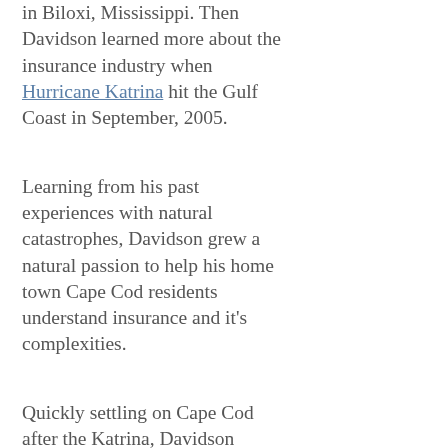in Biloxi, Mississippi. Then Davidson learned more about the insurance industry when Hurricane Katrina hit the Gulf Coast in September, 2005.
Learning from his past experiences with natural catastrophes, Davidson grew a natural passion to help his home town Cape Cod residents understand insurance and it's complexities.
Quickly settling on Cape Cod after the Katrina, Davidson became the